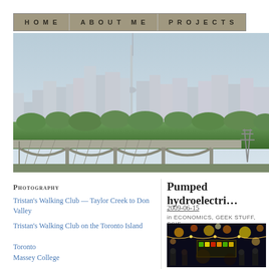HOME | ABOUT ME | PROJECTS
[Figure (photo): Panoramic photo of Toronto skyline with CN Tower visible, showing a railway viaduct/bridge in the foreground with trees and vegetation below the skyline]
Photography
Tristan's Walking Club — Taylor Creek to Don Valley
Tristan's Walking Club on the Toronto Island
Toronto
Massey College
Pumped hydroelectri…
2009-06-15
in ECONOMICS, GEEK STUFF, SCIE…
[Figure (photo): Nighttime photo of an outdoor market or fair with colorful lights and people]